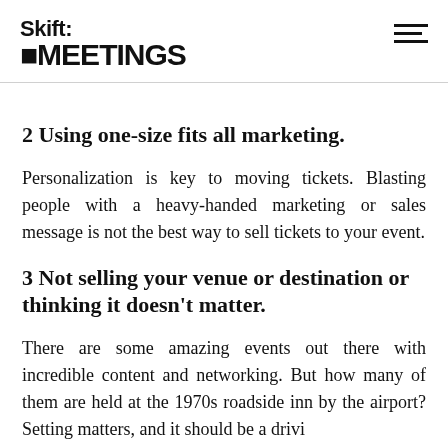Skift: MEETINGS
2 Using one-size fits all marketing.
Personalization is key to moving tickets. Blasting people with a heavy-handed marketing or sales message is not the best way to sell tickets to your event.
3 Not selling your venue or destination or thinking it doesn't matter.
There are some amazing events out there with incredible content and networking. But how many of them are held at the 1970s roadside inn by the airport? Setting matters, and it should be a driving